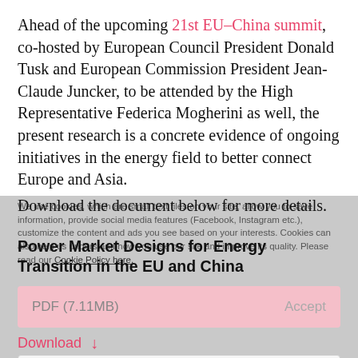Ahead of the upcoming 21st EU–China summit, co-hosted by European Council President Donald Tusk and European Commission President Jean-Claude Juncker, to be attended by the High Representative Federica Mogherini as well, the present research is a concrete evidence of ongoing initiatives in the energy field to better connect Europe and Asia.
Download the document below for more details.
Power Market Designs for Energy Transition in the EU and China
PDF (7.11MB)   Accept
Download ↓
Settings